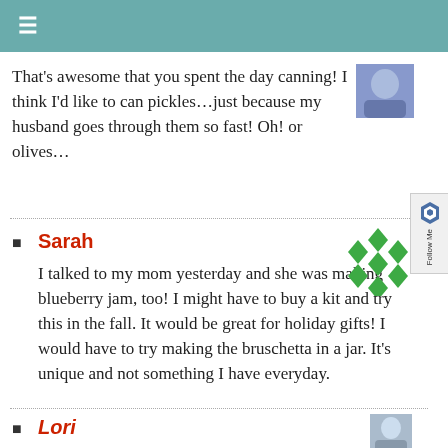≡
That's awesome that you spent the day canning! I think I'd like to can pickles…just because my husband goes through them so fast! Oh! or olives…
Sarah
I talked to my mom yesterday and she was making blueberry jam, too! I might have to buy a kit and try this in the fall. It would be great for holiday gifts! I would have to try making the bruschetta in a jar. It's unique and not something I have everyday.
Lori